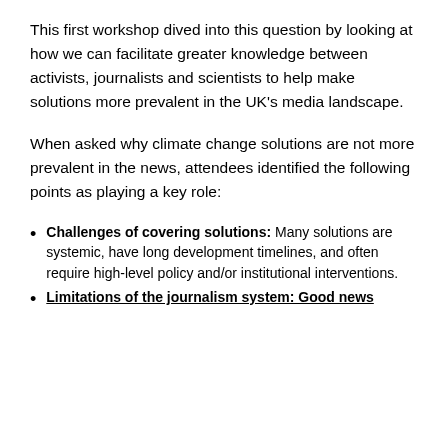This first workshop dived into this question by looking at how we can facilitate greater knowledge between activists, journalists and scientists to help make solutions more prevalent in the UK’s media landscape.
When asked why climate change solutions are not more prevalent in the news, attendees identified the following points as playing a key role:
Challenges of covering solutions: Many solutions are systemic, have long development timelines, and often require high-level policy and/or institutional interventions.
Limitations of the journalism system: Good news...